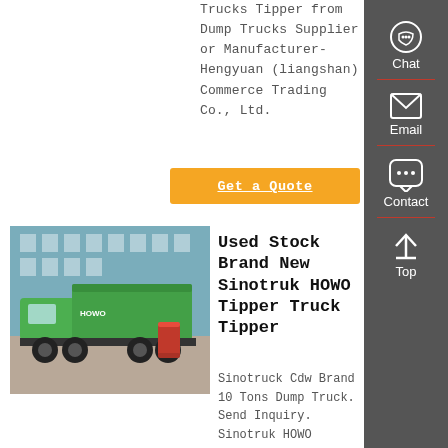Trucks Tipper from Dump Trucks Supplier or Manufacturer-Hengyuan (liangshan) Commerce Trading Co., Ltd.
Get a Quote
[Figure (photo): Green Sinotruk HOWO tipper dump truck parked in front of a building, with a red oil drum nearby]
Used Stock Brand New Sinotruk HOWO Tipper Truck Tipper
Sinotruck Cdw Brand 10 Tons Dump Truck. Send Inquiry. Sinotruk HOWO
Chat
Email
Contact
Top